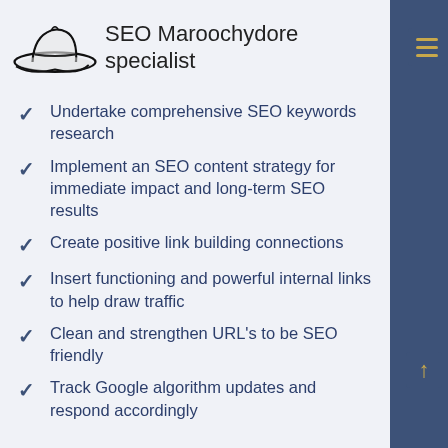[Figure (logo): Hand-drawn bowler hat illustration in black and white outline style]
SEO Maroochydore specialist
Undertake comprehensive SEO keywords research
Implement an SEO content strategy for immediate impact and long-term SEO results
Create positive link building connections
Insert functioning and powerful internal links to help draw traffic
Clean and strengthen URL’s to be SEO friendly
Track Google algorithm updates and respond accordingly